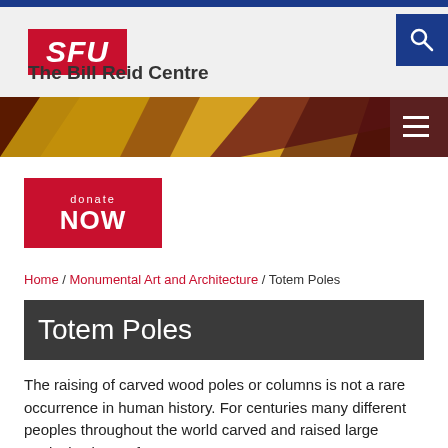SFU – The Bill Reid Centre
[Figure (logo): SFU logo in red box with italic white text]
[Figure (illustration): Decorative banner strip with abstract angled shapes in red, gold, brown, and dark maroon tones with a hamburger menu icon on the right]
[Figure (other): Donate NOW button — red rectangle with white text 'donate NOW']
Home / Monumental Art and Architecture / Totem Poles
Totem Poles
The raising of carved wood poles or columns is not a rare occurrence in human history. For centuries many different peoples throughout the world carved and raised large vertical columns for